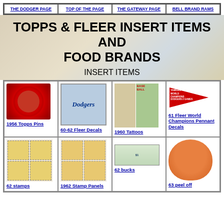THE DODGER PAGE | TOP OF THE PAGE | THE GATEWAY PAGE | BELL BRAND RAMS
TOPPS & FLEER INSERT ITEMS AND FOOD BRANDS
INSERT ITEMS
[Figure (photo): 1956 Topps Pins - circular pin with baseball player]
1956 Topps Pins
[Figure (photo): 60-62 Fleer Decals - Dodgers script decal]
60-62 Fleer Decals
[Figure (photo): 1960 Tattoos - baseball tattoo pack]
1960 Tattoos
[Figure (photo): 61 Fleer World Champions Pennant Decals]
61 Fleer World Champions Pennant Decals
[Figure (photo): 62 stamps - baseball player stamps]
62 stamps
[Figure (photo): 1962 Stamp Panels]
1962 Stamp Panels
[Figure (photo): 62 bucks - dollar bill style card]
62 bucks
[Figure (photo): 63 peel off - baseball player oval]
63 peel off